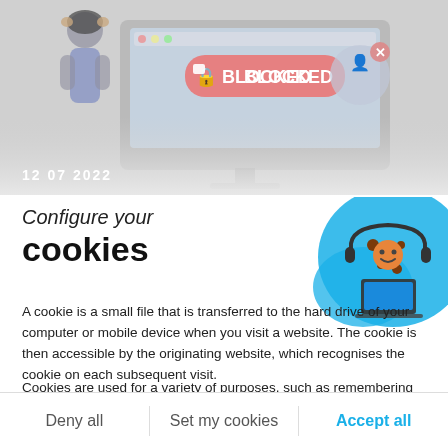[Figure (illustration): Screenshot/illustration showing a woman looking at a computer screen with a red 'BLOCKED' banner with a lock icon, and a profile icon with an X mark. Date '12 07 2022' shown in the lower left of the image.]
Configure your
cookies
[Figure (illustration): Cookie character with headphones and a laptop, on a blue watercolor background splash, positioned in the upper right of the content area.]
A cookie is a small file that is transferred to the hard drive of your computer or mobile device when you visit a website. The cookie is then accessible by the originating website, which recognises the cookie on each subsequent visit.
Cookies are used for a variety of purposes, such as remembering your preferences, supporting user authentication, or collecting information about the number of users visiting the website.
Deny all   Set my cookies   Accept all